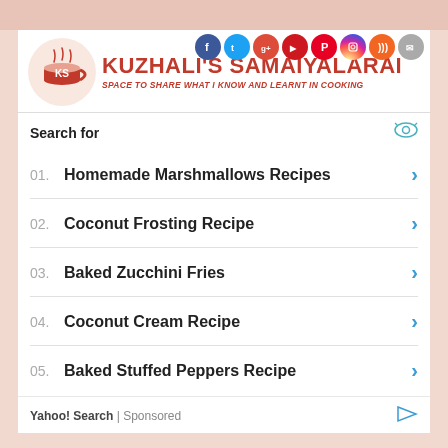[Figure (logo): Kuzhali's Samaiyalarai logo with red cup and KS letters, site name and tagline]
Search for
01. Homemade Marshmallows Recipes
02. Coconut Frosting Recipe
03. Baked Zucchini Fries
04. Coconut Cream Recipe
05. Baked Stuffed Peppers Recipe
Yahoo! Search | Sponsored